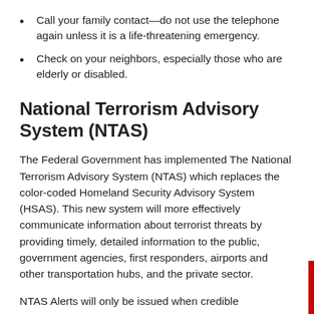Call your family contact—do not use the telephone again unless it is a life-threatening emergency.
Check on your neighbors, especially those who are elderly or disabled.
National Terrorism Advisory System (NTAS)
The Federal Government has implemented The National Terrorism Advisory System (NTAS) which replaces the color-coded Homeland Security Advisory System (HSAS). This new system will more effectively communicate information about terrorist threats by providing timely, detailed information to the public, government agencies, first responders, airports and other transportation hubs, and the private sector.
NTAS Alerts will only be issued when credible information is available. These alerts will include a clear statement that there is an imminent threat or elevated threat. Using available information, the alerts will provide a concise